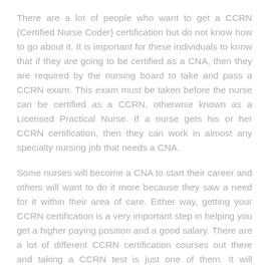There are a lot of people who want to get a CCRN (Certified Nurse Coder) certification but do not know how to go about it. It is important for these individuals to know that if they are going to be certified as a CNA, then they are required by the nursing board to take and pass a CCRN exam. This exam must be taken before the nurse can be certified as a CCRN, otherwise known as a Licensed Practical Nurse. If a nurse gets his or her CCRN certification, then they can work in almost any specialty nursing job that needs a CNA.
Some nurses will become a CNA to start their career and others will want to do it more because they saw a need for it within their area of care. Either way, getting your CCRN certification is a very important step in helping you get a higher paying position and a good salary. There are a lot of different CCRN certification courses out there and taking a CCRN test is just one of them. It will determine if you are going to be a nurse aid, a nurse-midwife, physical therapist, or other types of medical professional. These exams will also determine if you are eligible for different positions that nurses are employed in.